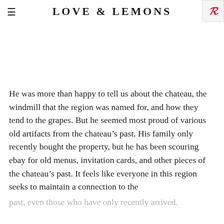LOVE & LEMONS
[Figure (photo): White space / image area below header]
He was more than happy to tell us about the chateau, the windmill that the region was named for, and how they tend to the grapes. But he seemed most proud of various old artifacts from the chateau’s past. His family only recently bought the property, but he has been scouring ebay for old menus, invitation cards, and other pieces of the chateau’s past. It feels like everyone in this region seeks to maintain a connection to the past, even those who have only recently arrived.